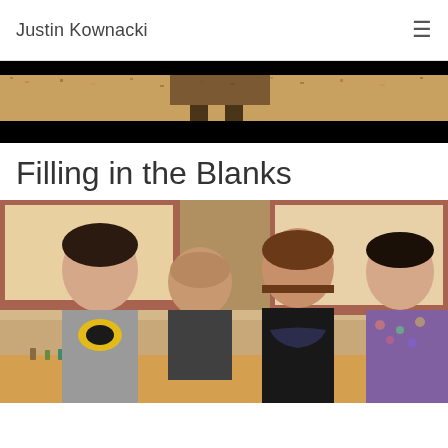Justin Kownacki
[Figure (photo): Partially visible cinematic image with dark borders, showing feet/legs on gravel or textured ground, with warm toned colors]
Filling in the Blanks
[Figure (photo): Photo of four people around a table playing a tabletop game; one person wearing a Batman t-shirt, another person leaning back with head tilted, a woman with long brown hair gesturing, and another woman with short dark hair; gaming miniatures and dice on the table; indoor setting with red-trimmed windows in background]